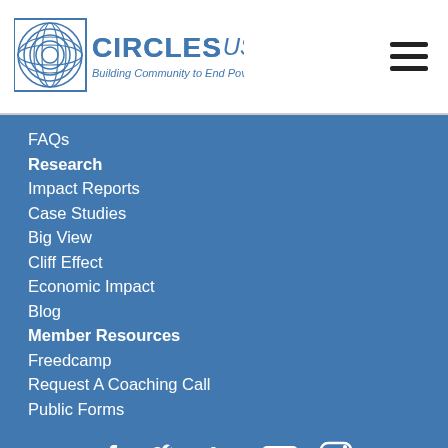[Figure (logo): Circles USA logo with text 'CIRCLES.USA Building Community to End Poverty' and decorative circular emblem]
FAQs
Research
Impact Reports
Case Studies
Big View
Cliff Effect
Economic Impact
Blog
Member Resources
Freedcamp
Request A Coaching Call
Public Forms
[Figure (infographic): Social media icons: Facebook, Twitter, LinkedIn, YouTube, Instagram]